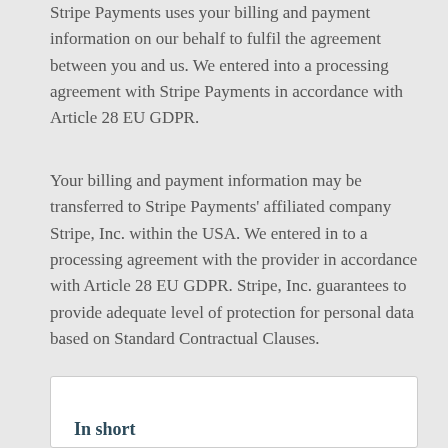Stripe Payments uses your billing and payment information on our behalf to fulfil the agreement between you and us. We entered into a processing agreement with Stripe Payments in accordance with Article 28 EU GDPR.
Your billing and payment information may be transferred to Stripe Payments' affiliated company Stripe, Inc. within the USA. We entered in to a processing agreement with the provider in accordance with Article 28 EU GDPR. Stripe, Inc. guarantees to provide adequate level of protection for personal data based on Standard Contractual Clauses.
In short